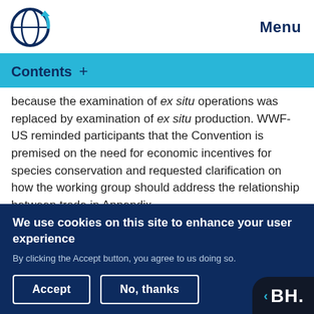Menu
Contents +
because the examination of ex situ operations was replaced by examination of ex situ production. WWF-US reminded participants that the Convention is premised on the need for economic incentives for species conservation and requested clarification on how the working group should address the relationship between trade in Appendix
We use cookies on this site to enhance your user experience
By clicking the Accept button, you agree to us doing so.